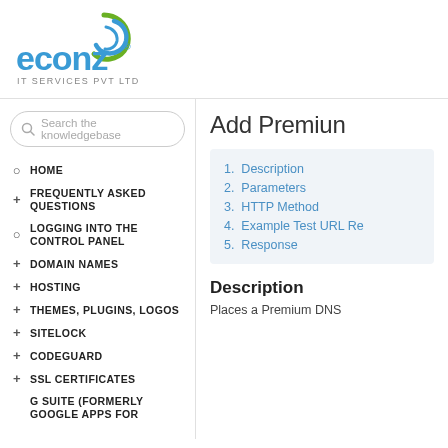[Figure (logo): econz IT SERVICES PVT LTD logo with blue text and green/blue swirl icon]
Search the knowledgebase
HOME
FREQUENTLY ASKED QUESTIONS
LOGGING INTO THE CONTROL PANEL
DOMAIN NAMES
HOSTING
THEMES, PLUGINS, LOGOS
SITELOCK
CODEGUARD
SSL CERTIFICATES
G SUITE (FORMERLY GOOGLE APPS FOR
Add Premium
1. Description
2. Parameters
3. HTTP Method
4. Example Test URL Re
5. Response
Description
Places a Premium DNS